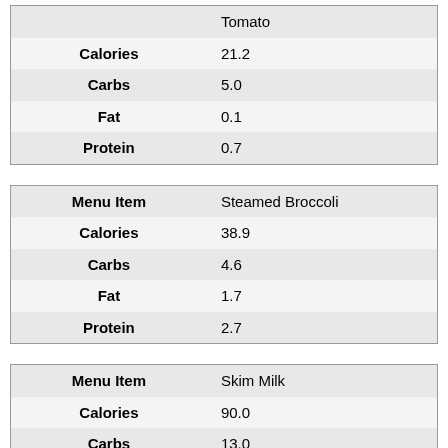|  | Tomato |
| --- | --- |
| Calories | 21.2 |
| Carbs | 5.0 |
| Fat | 0.1 |
| Protein | 0.7 |
| Menu Item | Steamed Broccoli |
| --- | --- |
| Calories | 38.9 |
| Carbs | 4.6 |
| Fat | 1.7 |
| Protein | 2.7 |
| Menu Item | Skim Milk |
| --- | --- |
| Calories | 90.0 |
| Carbs | 13.0 |
| Fat | 0.0 |
| Protein | 9.0 |